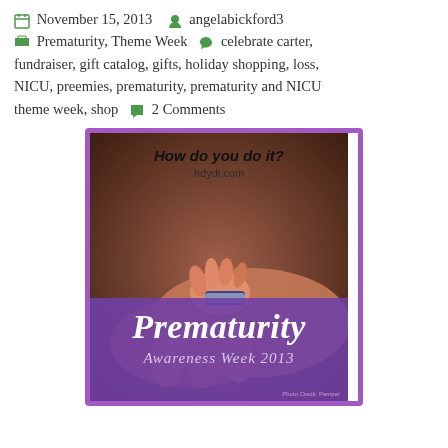November 15, 2013  angelabickford3  Prematurity, Theme Week  celebrate carter, fundraiser, gift catalog, gifts, holiday shopping, loss, NICU, preemies, prematurity, prematurity and NICU theme week, shop  2 Comments
[Figure (photo): A premature baby's tiny hand gripping an adult finger, with a hospital wristband visible. Purple banner at bottom reads 'Prematurity Awareness Week 2013'. Top overlay text reads 'How do you do it? hdydi.com'. Purple border around image.]